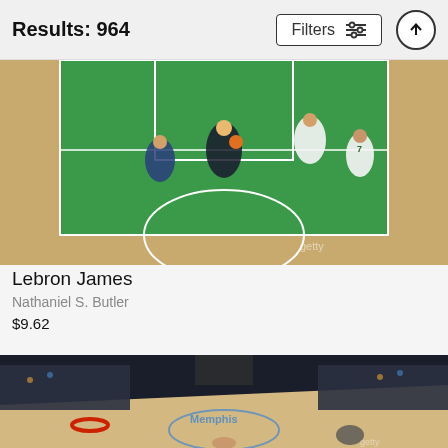Results: 964
[Figure (screenshot): Filters button with sliders icon]
[Figure (photo): Basketball game photo showing NBA players on a green court, Celtics vs opponent, aerial/overhead view of the key area]
Lebron James
Nathaniel S. Butler
$9.62
[Figure (photo): NBA basketball arena photo showing a wide-angle view of the court with Memphis Grizzlies logo, players near the basket, and crowd in background]